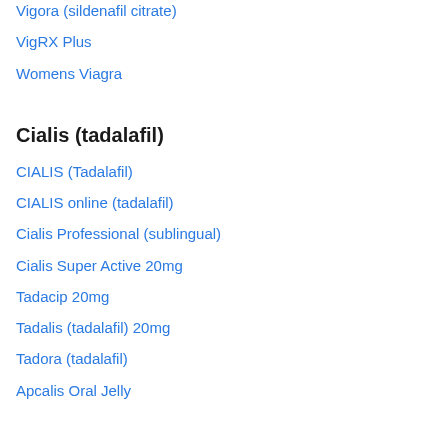Vigora (sildenafil citrate)
VigRX Plus
Womens Viagra
Cialis (tadalafil)
CIALIS (Tadalafil)
CIALIS online (tadalafil)
Cialis Professional (sublingual)
Cialis Super Active 20mg
Tadacip 20mg
Tadalis (tadalafil) 20mg
Tadora (tadalafil)
Apcalis Oral Jelly